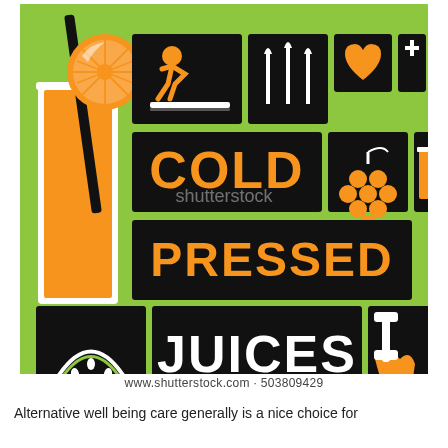[Figure (illustration): Cold pressed juices promotional graphic on lime green background. Features a tall orange juice glass with straw and orange slice on the left. Right side contains black rectangular panels with orange and white icons: running person on treadmill, umbrella/carrots, heart shape, plus/cross symbol, grape bunch with flag, juice glass, watermelon slice, and dumbbell/weight. Large text reads 'COLD' in orange, 'PRESSED' in orange, 'JUICES' in white, all on black panels. Shutterstock watermark overlay visible.]
www.shutterstock.com · 503809429
Alternative well being care generally is a nice choice for